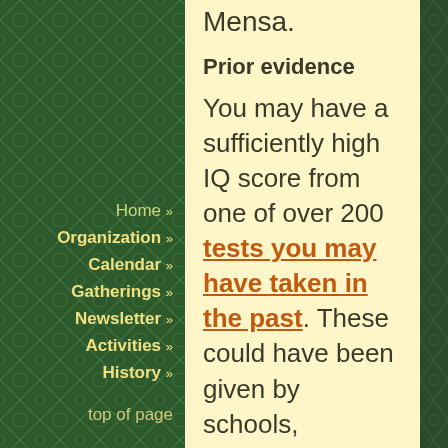Mensa.
Prior evidence
You may have a sufficiently high IQ score from one of over 200 tests you may have taken in the past. These could have been given by schools, colleges, the military, or
Home »
Organization »
Calendar »
Gatherings »
Newsletter »
Activities »
History »
top of page